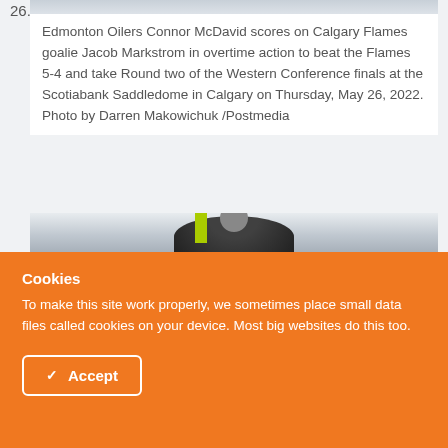26.
[Figure (photo): Partial sports photo at top (cropped), and a second photo below showing a person in dark clothing with a green accent element visible]
Edmonton Oilers Connor McDavid scores on Calgary Flames goalie Jacob Markstrom in overtime action to beat the Flames 5-4 and take Round two of the Western Conference finals at the Scotiabank Saddledome in Calgary on Thursday, May 26, 2022. Photo by Darren Makowichuk /Postmedia
Cookies
To make this site work properly, we sometimes place small data files called cookies on your device. Most big websites do this too.
✓  Accept